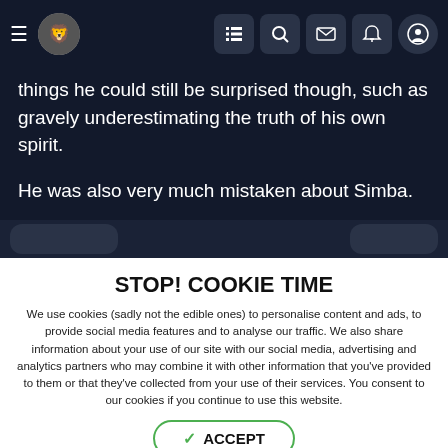Navigation bar with hamburger menu, logo, and icons
things he could still be surprised though, such as gravely underestimating the truth of his own spirit.
He was also very much mistaken about Simba.
(One more chapter here too 🙂)
STOP! COOKIE TIME
We use cookies (sadly not the edible ones) to personalise content and ads, to provide social media features and to analyse our traffic. We also share information about your use of our site with our social media, advertising and analytics partners who may combine it with other information that you've provided to them or that they've collected from your use of their services. You consent to our cookies if you continue to use this website.
✓ ACCEPT